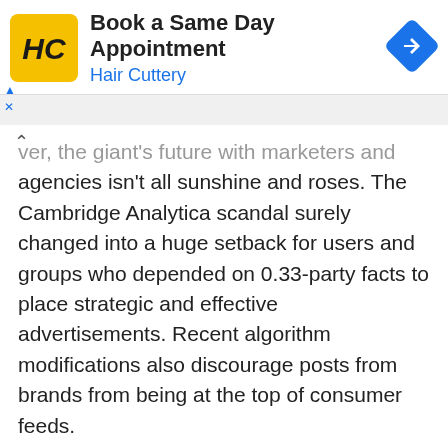[Figure (logo): Hair Cuttery ad banner with HC logo, text 'Book a Same Day Appointment / Hair Cuttery', and a blue navigation diamond icon]
ver, the giant's future with marketers and agencies isn't all sunshine and roses. The Cambridge Analytica scandal surely changed into a huge setback for users and groups who depended on 0.33-party facts to place strategic and effective advertisements. Recent algorithm modifications also discourage posts from brands from being at the top of consumer feeds.
Facebook is still the maximum famous and quickest-developing social media platform. Many companies and influencers are responding to set of rules modifications through moving away from